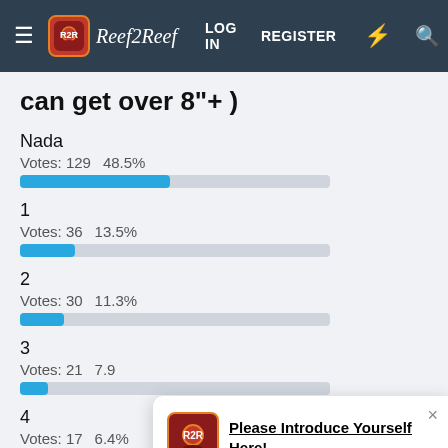Reef2Reef — LOG IN  REGISTER
can get over 8"+)
Nada
Votes: 129   48.5%
1
Votes: 36   13.5%
2
Votes: 30   11.3%
3
Votes: 21   7.9
4
Votes: 17   6.4%
Please Introduce Yourself Here!